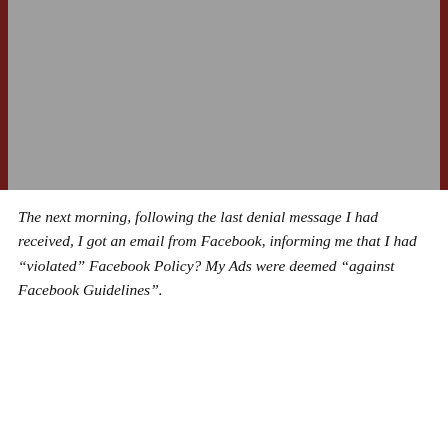[Figure (photo): Gray placeholder image at top of page, approximately 432x190px]
The next morning, following the last denial message I had received, I got an email from Facebook, informing me that I had “violated” Facebook Policy? My Ads were deemed “against Facebook Guidelines”.
[Figure (screenshot): Email preview card from Facebook Ads Team. Shows avatar with letter F, sender name 'Facebook Ads Team', recipient 'to me', date 'Yesterday', and a 'View details' link in blue. Reply and more icons visible on right.]
Advertisements
[Figure (photo): Victoria's Secret advertisement banner. Shows a woman with curly hair on left, Victoria's Secret logo in center, text 'SHOP THE COLLECTION' and a 'SHOP NOW' button on the right. Pink gradient background.]